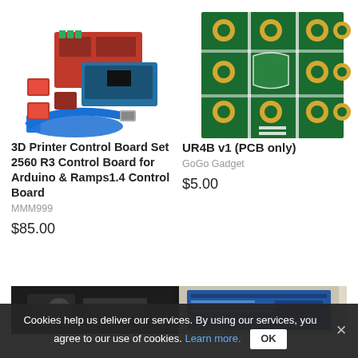[Figure (photo): 3D printer control board set with Arduino Mega 2560, RAMPS 1.4 board, stepper motor drivers, and blue USB cable]
3D Printer Control Board Set 2560 R3 Control Board for Arduino & Ramps1.4 Control Board
MMM999
$85.00
[Figure (photo): UR4B v1 PCB board - green circuit board with gold pads arranged in a grid pattern]
UR4B v1 (PCB only)
GoGo Gadget
$5.00
[Figure (photo): Partial view of electronics product (bottom left)]
[Figure (photo): Partial view of blue circuit board product (bottom right)]
Cookies help us deliver our services. By using our services, you agree to our use of cookies. Learn more.